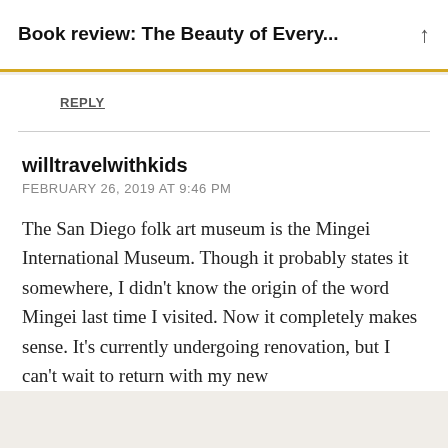Book review: The Beauty of Every...
REPLY
willtravelwithkids
FEBRUARY 26, 2019 AT 9:46 PM
The San Diego folk art museum is the Mingei International Museum. Though it probably states it somewhere, I didn't know the origin of the word Mingei last time I visited. Now it completely makes sense. It's currently undergoing renovation, but I can't wait to return with my new